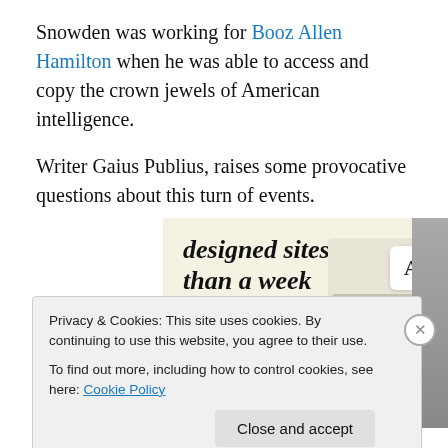Snowden was working for Booz Allen Hamilton when he was able to access and copy the crown jewels of American intelligence.
Writer Gaius Publius, raises some provocative questions about this turn of events.
[Figure (screenshot): Advertisement banner showing text 'designed sites in less than a week' with a green 'Explore options' button and website mockup images on a cream/beige background.]
Privacy & Cookies: This site uses cookies. By continuing to use this website, you agree to their use.
To find out more, including how to control cookies, see here: Cookie Policy
Close and accept